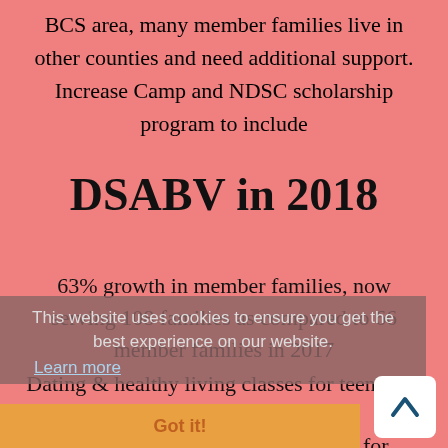BCS area, many member families live in other counties and need additional support. Increase Camp and NDSC scholarship program to include
DSABV in 2018
63% growth in member families, now serving 108 families as compared to 66 member families in 2017
Dating & healthy living classes for teens and young adults
OT, PT, & Speech therapy classes for younger members
Social events for families and individuals